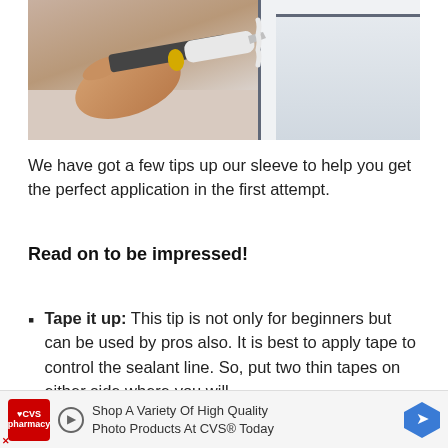[Figure (photo): A hand holding a caulk gun applying white sealant to the edge of a white window frame]
We have got a few tips up our sleeve to help you get the perfect application in the first attempt.
Read on to be impressed!
Tape it up: This tip is not only for beginners but can be used by pros also. It is best to apply tape to control the sealant line. So, put two thin tapes on either side where you will
Shop A Variety Of High Quality Photo Products At CVS® Today